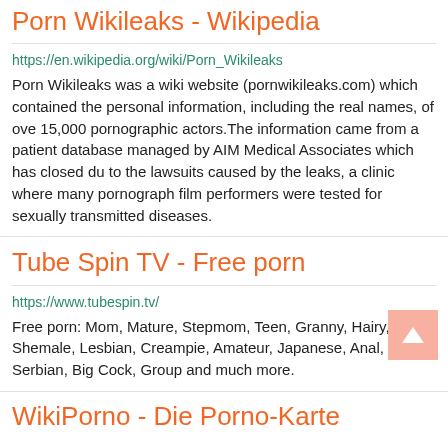Porn Wikileaks - Wikipedia
https://en.wikipedia.org/wiki/Porn_Wikileaks
Porn Wikileaks was a wiki website (pornwikileaks.com) which contained the personal information, including the real names, of over 15,000 pornographic actors.The information came from a patient database managed by AIM Medical Associates which has closed due to the lawsuits caused by the leaks, a clinic where many pornographic film performers were tested for sexually transmitted diseases.
Tube Spin TV - Free porn
https://www.tubespin.tv/
Free porn: Mom, Mature, Stepmom, Teen, Granny, Hairy, Shemale, Lesbian, Creampie, Amateur, Japanese, Anal, Serbian, Big Cock, Group and much more.
WikiPorno - Die Porno-Karte